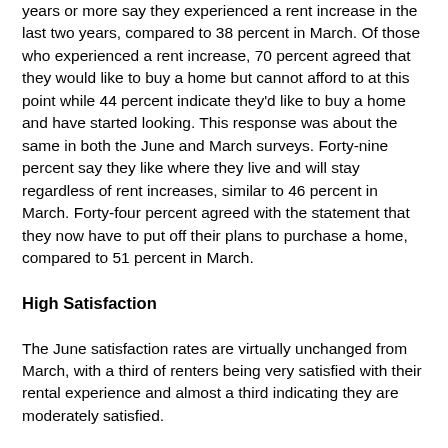years or more say they experienced a rent increase in the last two years, compared to 38 percent in March. Of those who experienced a rent increase, 70 percent agreed that they would like to buy a home but cannot afford to at this point while 44 percent indicate they'd like to buy a home and have started looking. This response was about the same in both the June and March surveys. Forty-nine percent say they like where they live and will stay regardless of rent increases, similar to 46 percent in March. Forty-four percent agreed with the statement that they now have to put off their plans to purchase a home, compared to 51 percent in March.
High Satisfaction
The June satisfaction rates are virtually unchanged from March, with a third of renters being very satisfied with their rental experience and almost a third indicating they are moderately satisfied.
In addition, the top favorable factors for renting remain the same with the strength of these favorable views rising slightly in June. The top